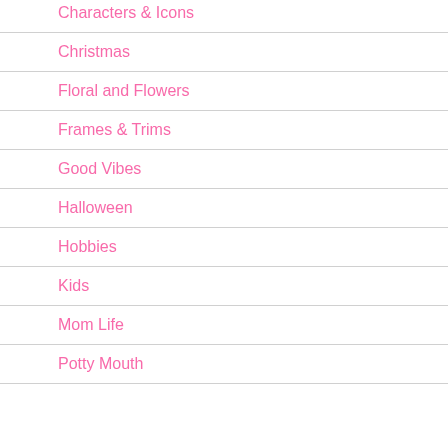Characters & Icons
Christmas
Floral and Flowers
Frames & Trims
Good Vibes
Halloween
Hobbies
Kids
Mom Life
Potty Mouth